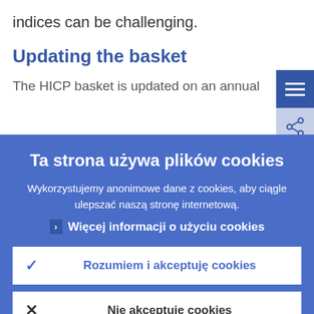indices can be challenging.
Updating the basket
The HICP basket is updated on an annual
Ta strona używa plików cookies
Wykorzystujemy anonimowe dane z cookies, aby ciągle ulepszać naszą stronę internetową.
Więcej informacji o użyciu cookies
Rozumiem i akceptuję cookies
Nie akceptuję cookies